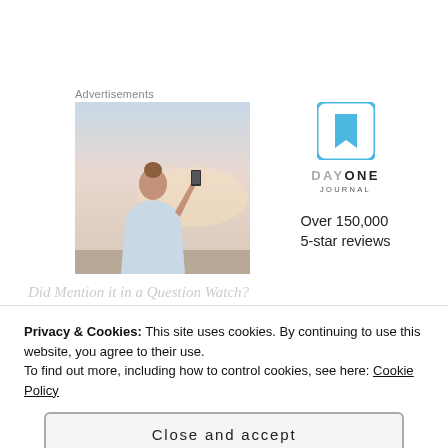Advertisements
[Figure (photo): Person photographing a sunset or sky with a smartphone, seen from behind, wearing a light blue shirt]
[Figure (logo): Day One Journal app logo: a blue square with rounded corners containing a white bookmark icon, with text 'DAYONE JOURNAL' below and 'Over 150,000 5-star reviews' underneath]
Did Mention it in a Question Watch?
Privacy & Cookies: This site uses cookies. By continuing to use this website, you agree to their use.
To find out more, including how to control cookies, see here: Cookie Policy
Close and accept